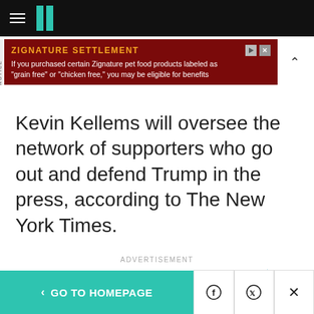HuffPost navigation bar with hamburger menu and logo
[Figure (screenshot): Advertisement banner: ZIGNATURE SETTLEMENT - If you purchased certain Zignature pet food products labeled as "grain free" or "chicken free," you may be eligible for benefits]
Kevin Kellems will oversee the network of supporters who go out and defend Trump in the press, according to The New York Times.
ADVERTISEMENT
< GO TO HOMEPAGE | Facebook | Twitter | X